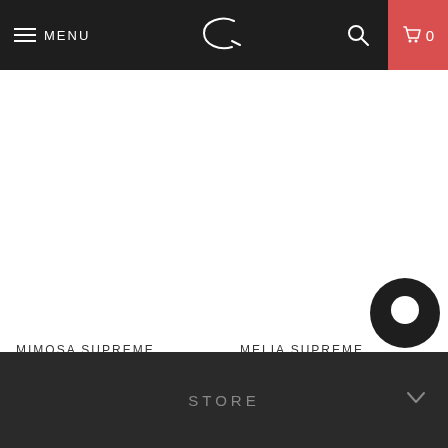MENU | [logo] | [search] | 0
from
MIMOSA SUPREME
Supreme Nutrition
MELIA SUPREME
Supreme Nutrition
STORE